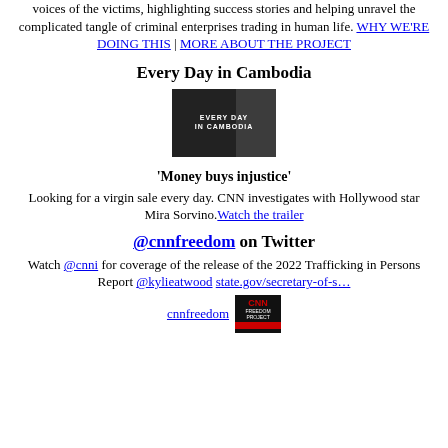voices of the victims, highlighting success stories and helping unravel the complicated tangle of criminal enterprises trading in human life. WHY WE'RE DOING THIS | MORE ABOUT THE PROJECT
Every Day in Cambodia
[Figure (photo): Black and white film still showing 'Every Day in Cambodia' text overlay with a person's silhouette]
'Money buys injustice'
Looking for a virgin sale every day. CNN investigates with Hollywood star Mira Sorvino. Watch the trailer
@cnnfreedom on Twitter
Watch @cnni for coverage of the release of the 2022 Trafficking in Persons Report @kylieatwood state.gov/secretary-of-s…
cnnfreedom